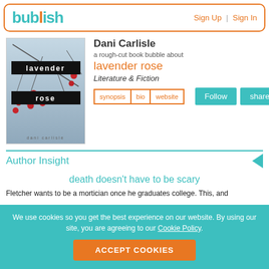bublish | Sign Up | Sign In
[Figure (illustration): Book cover for 'lavender rose' by Dani Carlisle. Light blue-grey background with red berries on branches. Two black label overlays read 'lavender' and 'rose'. Author name 'dani carlisle' at bottom.]
Dani Carlisle
a rough-cut book bubble about
lavender rose
Literature & Fiction
synopsis | bio | website
Follow | share
Author Insight
death doesn't have to be scary
Fletcher wants to be a mortician once he graduates college. This, and
We use cookies so you get the best experience on our website. By using our site, you are agreeing to our Cookie Policy.
ACCEPT COOKIES